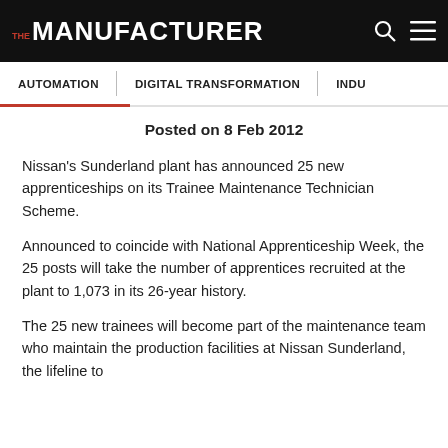THE MANUFACTURER
AUTOMATION | DIGITAL TRANSFORMATION | INDU…
Posted on 8 Feb 2012
Nissan's Sunderland plant has announced 25 new apprenticeships on its Trainee Maintenance Technician Scheme.
Announced to coincide with National Apprenticeship Week, the 25 posts will take the number of apprentices recruited at the plant to 1,073 in its 26-year history.
The 25 new trainees will become part of the maintenance team who maintain the production facilities at Nissan Sunderland, the lifeline to...